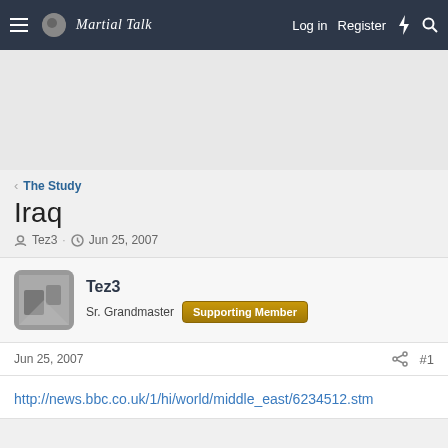Martial Talk — Log in   Register
[Figure (other): Gray advertisement placeholder area]
< The Study
Iraq
Tez3 · Jun 25, 2007
Tez3
Sr. Grandmaster   Supporting Member
Jun 25, 2007   #1
http://news.bbc.co.uk/1/hi/world/middle_east/6234512.stm